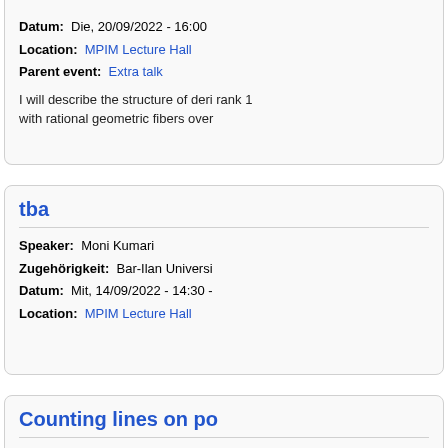Datum: Die, 20/09/2022 - 16:00
Location: MPIM Lecture Hall
Parent event: Extra talk
I will describe the structure of deri rank 1
with rational geometric fibers over
tba
Speaker: Moni Kumari
Zugehörigkeit: Bar-Ilan Universi
Datum: Mit, 14/09/2022 - 14:30 -
Location: MPIM Lecture Hall
Counting lines on po
Speaker: Alexander Degtyarev
Zugehörigkeit: Bilkent University
Datum: Don, 08/09/2022 - 15:00
Location: MPIM Lecture Hall
Parent event: MPI-Obersemina